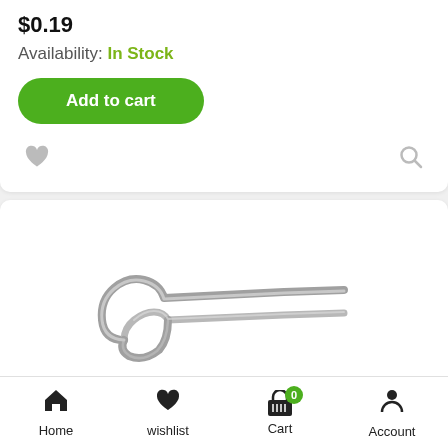$0.19
Availability: In Stock
Add to cart
[Figure (photo): A metal cotter pin / hairpin clip, silver/chrome colored, photographed on white background]
Home | wishlist | Cart 0 | Account